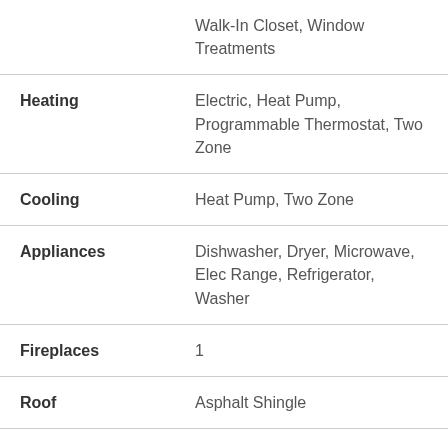| Feature | Value |
| --- | --- |
|  | Walk-In Closet, Window Treatments |
| Heating | Electric, Heat Pump, Programmable Thermostat, Two Zone |
| Cooling | Heat Pump, Two Zone |
| Appliances | Dishwasher, Dryer, Microwave, Elec Range, Refrigerator, Washer |
| Fireplaces | 1 |
| Roof | Asphalt Shingle |
| Floors | Carpet, Ceramic, Vinyl |